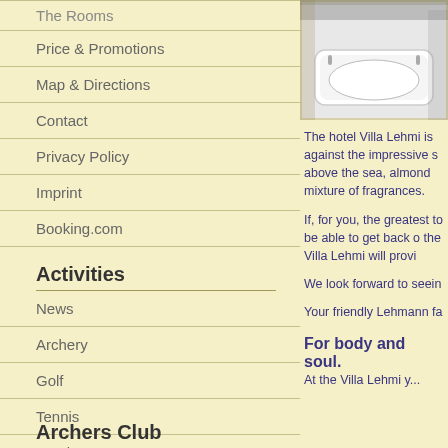The Rooms
Price & Promotions
Map & Directions
Contact
Privacy Policy
Imprint
Booking.com
Activities
News
Archery
Golf
Tennis
Seminars
Archers Club
[Figure (photo): Photo of a bathtub in a hotel bathroom]
The hotel Villa Lehmi is against the impressive s above the sea, almond mixture of fragrances.
If, for you, the greatest to be able to get back o the Villa Lehmi will provi
We look forward to seein
Your friendly Lehmann fa
For body and soul.
At the Villa Lehmi y...